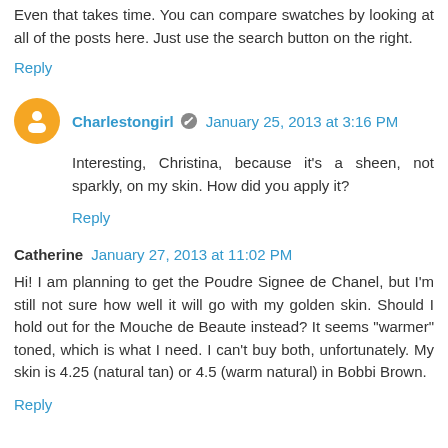Even that takes time. You can compare swatches by looking at all of the posts here. Just use the search button on the right.
Reply
Charlestongirl  January 25, 2013 at 3:16 PM
Interesting, Christina, because it's a sheen, not sparkly, on my skin. How did you apply it?
Reply
Catherine  January 27, 2013 at 11:02 PM
Hi! I am planning to get the Poudre Signee de Chanel, but I'm still not sure how well it will go with my golden skin. Should I hold out for the Mouche de Beaute instead? It seems "warmer" toned, which is what I need. I can't buy both, unfortunately. My skin is 4.25 (natural tan) or 4.5 (warm natural) in Bobbi Brown.
Reply